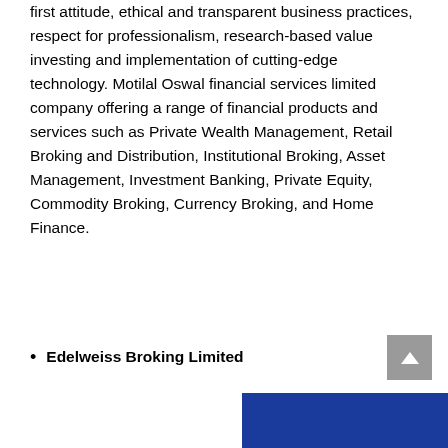first attitude, ethical and transparent business practices, respect for professionalism, research-based value investing and implementation of cutting-edge technology. Motilal Oswal financial services limited company offering a range of financial products and services such as Private Wealth Management, Retail Broking and Distribution, Institutional Broking, Asset Management, Investment Banking, Private Equity, Commodity Broking, Currency Broking, and Home Finance.
Edelweiss Broking Limited
[Figure (other): Blue banner/bar at bottom of page, partial view]